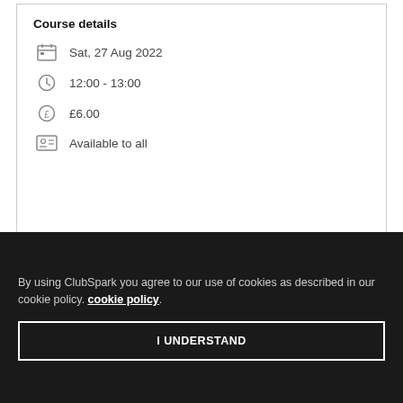Course details
Sat, 27 Aug 2022
12:00 - 13:00
£6.00
Available to all
By using ClubSpark you agree to our use of cookies as described in our cookie policy. cookie policy.
I UNDERSTAND